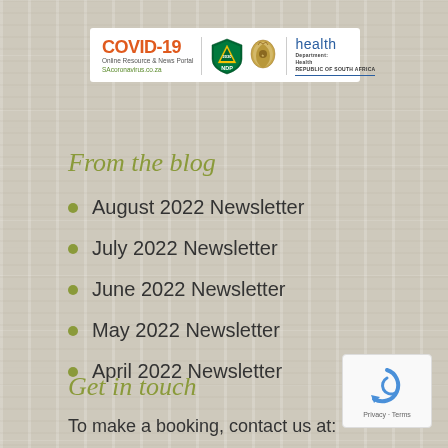[Figure (logo): COVID-19 Online Resource & News Portal header with NDP and Department of Health Republic of South Africa logos]
From the blog
August 2022 Newsletter
July 2022 Newsletter
June 2022 Newsletter
May 2022 Newsletter
April 2022 Newsletter
Get in touch
To make a booking, contact us at:
[Figure (logo): reCAPTCHA widget with Privacy and Terms links]